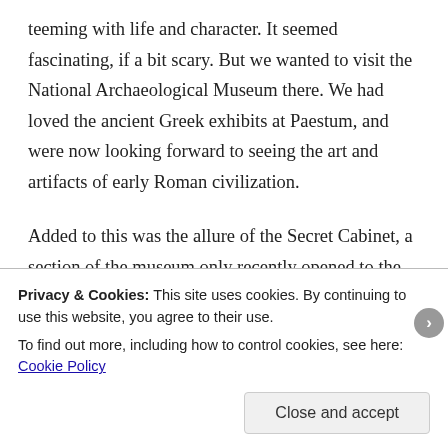teeming with life and character. It seemed fascinating, if a bit scary. But we wanted to visit the National Archaeological Museum there. We had loved the ancient Greek exhibits at Paestum, and were now looking forward to seeing the art and artifacts of early Roman civilization.
Added to this was the allure of the Secret Cabinet, a section of the museum only recently opened to the public, that contains the ancient erotica recovered from Pompeii and Herculaneum. For hundreds of years, the contents of the Secret Cabinet had been deemed too racy for all but the most serious scholars to see. Now it is available to members of the general
Privacy & Cookies: This site uses cookies. By continuing to use this website, you agree to their use.
To find out more, including how to control cookies, see here: Cookie Policy
Close and accept